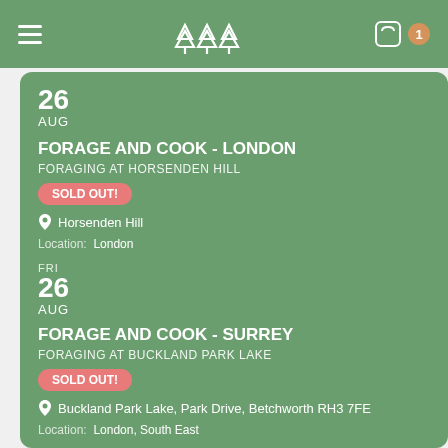Navigation header with hamburger menu, tree logo, cart icon with badge 1
26 AUG
FORAGE AND COOK - LONDON
FORAGING AT HORSENDEN HILL
SOLD OUT!
Horsenden Hill
Location: London
Type of Event: Forage and Cookery
FRI 26 AUG
FORAGE AND COOK - SURREY
FORAGING AT BUCKLAND PARK LAKE
SOLD OUT!
Buckland Park Lake, Park Drive, Betchworth RH3 7FE
Location: London, South East